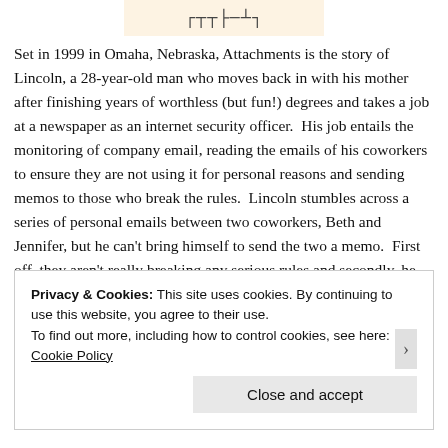[Figure (illustration): Stylized text or logo image on a light orange/cream background at the top center of the page]
Set in 1999 in Omaha, Nebraska, Attachments is the story of Lincoln, a 28-year-old man who moves back in with his mother after finishing years of worthless (but fun!) degrees and takes a job at a newspaper as an internet security officer.  His job entails the monitoring of company email, reading the emails of his coworkers to ensure they are not using it for personal reasons and sending memos to those who break the rules.  Lincoln stumbles across a series of personal emails between two coworkers, Beth and Jennifer, but he can't bring himself to send the two a memo.  First off, they aren't really breaking any serious rules and secondly, he finds them intriguing and funny, like friends he's never met.  Soon, he realizes he's got it bad for Beth,
Privacy & Cookies: This site uses cookies. By continuing to use this website, you agree to their use.
To find out more, including how to control cookies, see here: Cookie Policy